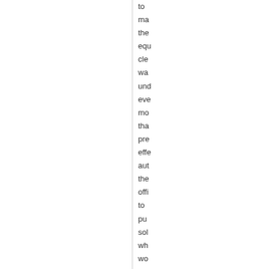to ma the equ cle wa und eve mo tha pre effe aut the offi to pu sol wh wo not pro ma the equ